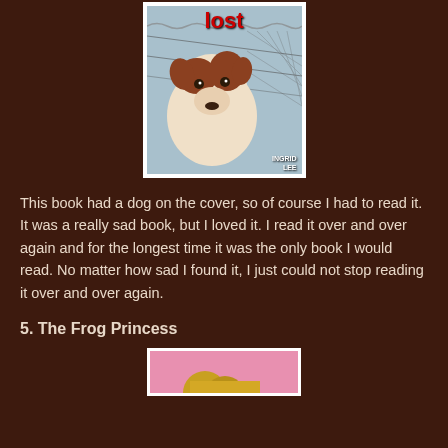[Figure (photo): Book cover of 'Dog Lost' by Ingrid Lee, showing a brown and white puppy behind a chain-link fence]
This book had a dog on the cover, so of course I had to read it. It was a really sad book, but I loved it. I read it over and over again and for the longest time it was the only book I would read. No matter how sad I found it, I just could not stop reading it over and over again.
5. The Frog Princess
[Figure (photo): Partial view of The Frog Princess book cover, showing pink background with partial illustration at bottom of page]